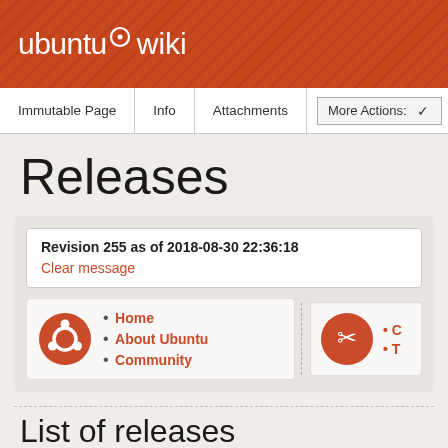ubuntu wiki
Immutable Page | Info | Attachments | More Actions:
Releases
Revision 255 as of 2018-08-30 22:36:18
Clear message
Home
About Ubuntu
Community
List of releases